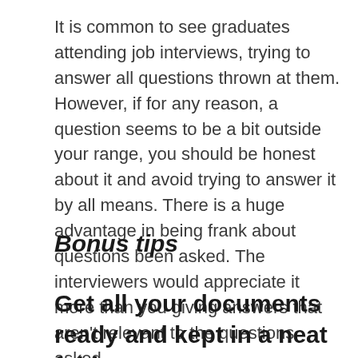It is common to see graduates attending job interviews, trying to answer all questions thrown at them. However, if for any reason, a question seems to be a bit outside your range, you should be honest about it and avoid trying to answer it by all means. There is a huge advantage in being frank about questions been asked. The interviewers would appreciate it more than you giving answers that aren't relevant to the questions asked.
Bonus tips
Get all your documents ready and kept in a neat folder.